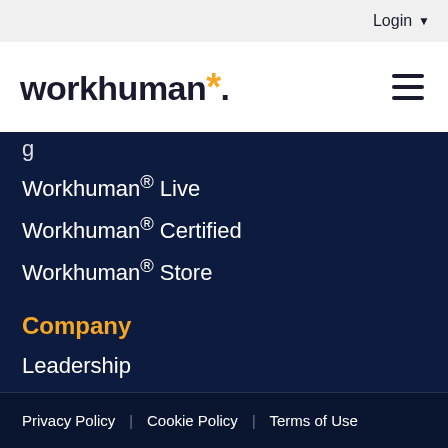Login
[Figure (logo): Workhuman logo with asterisk star in gold and hamburger menu icon]
Workhuman® Live
Workhuman® Certified
Workhuman® Store
Company
Leadership
Careers
News
Social responsibility
Contact us
GDPR update
Transparency in Coverage
Privacy Policy   Cookie Policy   Terms of Use